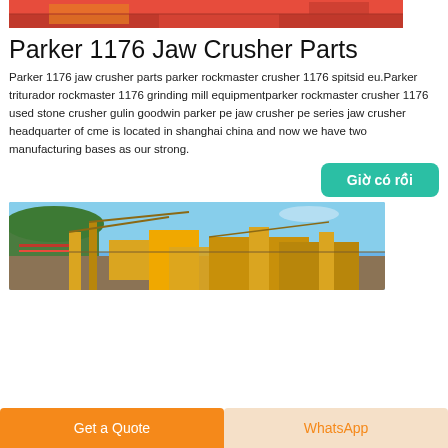[Figure (photo): Top banner image of industrial crushing equipment with red and orange colors]
Parker 1176 Jaw Crusher Parts
Parker 1176 jaw crusher parts parker rockmaster crusher 1176 spitsid eu.Parker triturador rockmaster 1176 grinding mill equipmentparker rockmaster crusher 1176 used stone crusher gulin goodwin parker pe jaw crusher pe series jaw crusher headquarter of cme is located in shanghai china and now we have two manufacturing bases as our strong.
[Figure (other): Button labeled 'Giờ có rồi' in teal/green color]
[Figure (photo): Outdoor photo of yellow jaw crusher industrial equipment with blue sky and green trees in background]
[Figure (other): Bottom navigation bar with 'Get a Quote' orange button and 'WhatsApp' button]